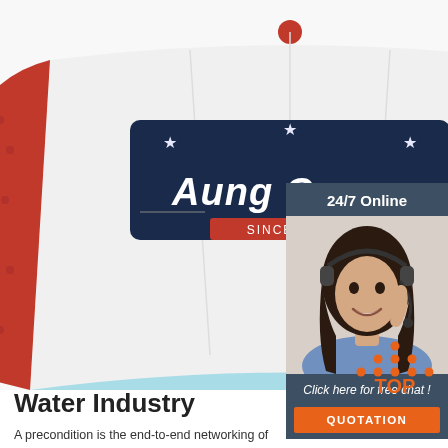[Figure (photo): A red, white, and light blue trucker hat with a navy patch reading 'Aung Crown SINCE 1999' with stars, photographed on a white background.]
[Figure (photo): Sidebar showing '24/7 Online' text, a photo of a smiling woman with a headset, a 'Click here for free chat!' italic text, and an orange QUOTATION button, all on a dark navy/slate background.]
[Figure (illustration): Orange TOP badge with dots arranged in a triangle above the word TOP in bold orange text.]
Water Industry
A precondition is the end-to-end networking of systems engineering, from commissioning to operation, maintenance, and ongoing process optimization based on a data platform – a merging of the virtual and real worlds. The improved data quality and availability reduce project execution time in the real world.